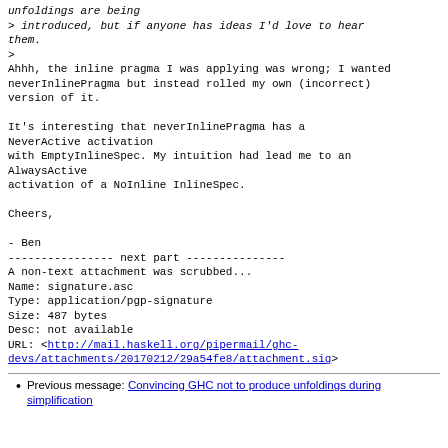unfoldings are being
> introduced, but if anyone has ideas I'd love to hear them.
>
Ahhh, the inline pragma I was applying was wrong; I wanted
neverInlinePragma but instead rolled my own (incorrect)
version of it.

It's interesting that neverInlinePragma has a NeverActive activation
with EmptyInlineSpec. My intuition had lead me to an AlwaysActive
activation of a NoInline InlineSpec.

Cheers,

- Ben
---------------- next part ---------------
A non-text attachment was scrubbed...
Name: signature.asc
Type: application/pgp-signature
Size: 487 bytes
Desc: not available
URL: <http://mail.haskell.org/pipermail/ghc-devs/attachments/20170212/29a54fe8/attachment.sig>
Previous message: Convincing GHC not to produce unfoldings during simplification